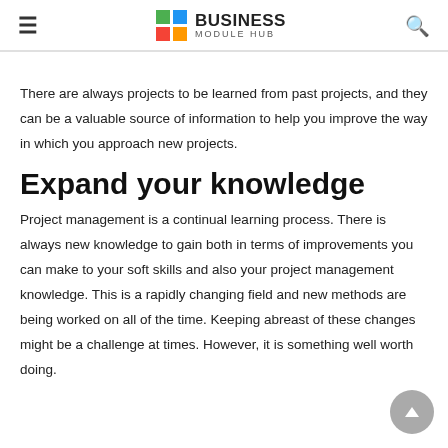Business Module Hub
There are always projects to be learned from past projects, and they can be a valuable source of information to help you improve the way in which you approach new projects.
Expand your knowledge
Project management is a continual learning process. There is always new knowledge to gain both in terms of improvements you can make to your soft skills and also your project management knowledge. This is a rapidly changing field and new methods are being worked on all of the time. Keeping abreast of these changes might be a challenge at times. However, it is something well worth doing.